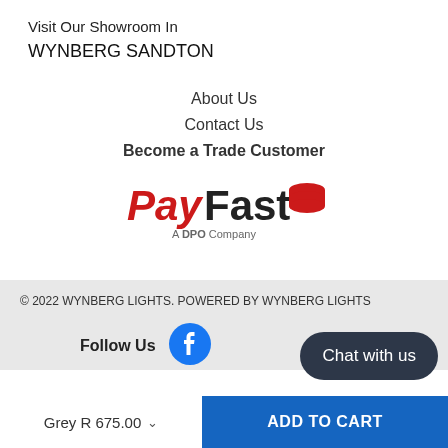Visit Our Showroom In
WYNBERG SANDTON
About Us
Contact Us
Become a Trade Customer
[Figure (logo): PayFast - A DPO Company logo with red and black text and red stacked discs icon]
© 2022 WYNBERG LIGHTS. POWERED BY WYNBERG LIGHTS
Follow Us
[Figure (other): Facebook icon - circular blue logo]
Chat with us
Grey R 675.00
ADD TO CART